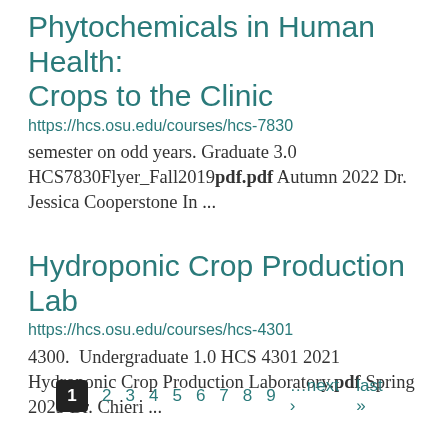Phytochemicals in Human Health: Crops to the Clinic
https://hcs.osu.edu/courses/hcs-7830 semester on odd years. Graduate 3.0 HCS7830Flyer_Fall2019pdf.pdf Autumn 2022 Dr. Jessica Cooperstone In ...
Hydroponic Crop Production Lab
https://hcs.osu.edu/courses/hcs-4301 4300.  Undergraduate 1.0 HCS 4301 2021 Hydroponic Crop Production Laboratory.pdf Spring 2023 Dr. Chieri ...
1  2  3  4  5  6  7  8  9  …next ›  last »